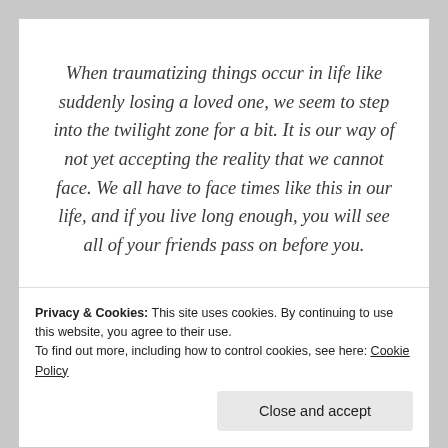When traumatizing things occur in life like suddenly losing a loved one, we seem to step into the twilight zone for a bit. It is our way of not yet accepting the reality that we cannot face. We all have to face times like this in our life, and if you live long enough, you will see all of your friends pass on before you.
While my sweet Ashton mourns the loss of his
Privacy & Cookies: This site uses cookies. By continuing to use this website, you agree to their use.
To find out more, including how to control cookies, see here: Cookie Policy